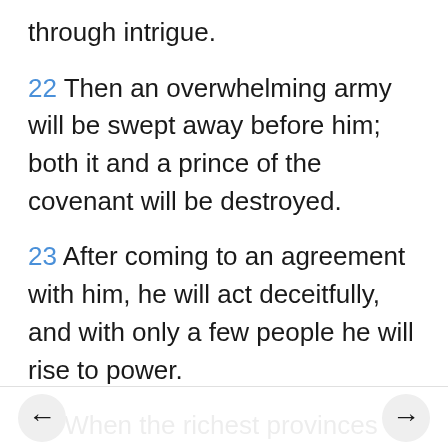through intrigue.
22 Then an overwhelming army will be swept away before him; both it and a prince of the covenant will be destroyed.
23 After coming to an agreement with him, he will act deceitfully, and with only a few people he will rise to power.
24 When the richest provinces feel secure, he will invade them and will achieve what neither his fathers nor his forefathers did. He will distribute plunder, loot and wealth among his followers. He will plot the overthrow of fortresses—but only for a time.